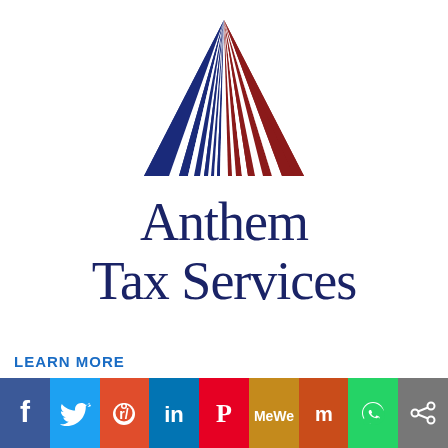[Figure (logo): Anthem Tax Services logo: a triangular sunburst design with alternating blue and red rays, with the company name below in dark navy serif font reading 'Anthem Tax Services']
LEARN MORE
[Figure (infographic): Social media sharing bar with icons for Facebook, Twitter, Reddit, LinkedIn, Pinterest, MeWe, Mix, WhatsApp, and Share]